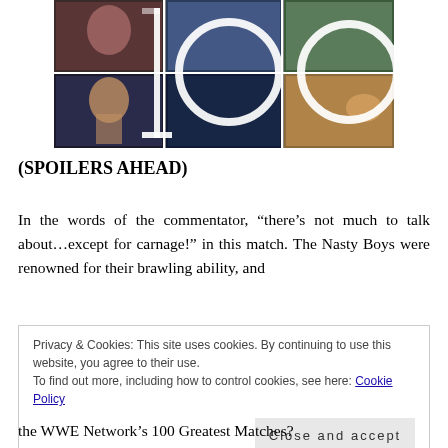[Figure (photo): Collage of wrestling/WWE images forming the number '100' with white circle overlays on a grid of photos including wrestlers and performers]
(SPOILERS AHEAD)
In the words of the commentator, “there’s not much to talk about…except for carnage!” in this match. The Nasty Boys were renowned for their brawling ability, and
Privacy & Cookies: This site uses cookies. By continuing to use this website, you agree to their use.
To find out more, including how to control cookies, see here: Cookie Policy
[Close and accept button]
the WWE Network’s 100 Greatest Matches?